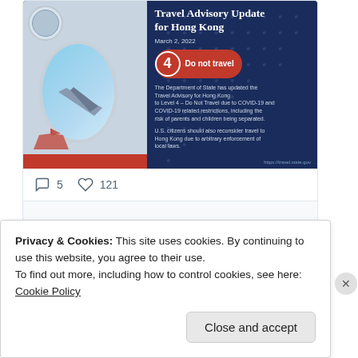[Figure (screenshot): Travel Advisory Update for Hong Kong – Level 4 Do Not Travel, March 2 2022. Department of State advisory card showing airplane window, Hong Kong harbor, Level 4 red badge.]
5   121
View more on Twitter
Learn more about privacy on Twitter
Privacy & Cookies: This site uses cookies. By continuing to use this website, you agree to their use.
To find out more, including how to control cookies, see here: Cookie Policy
Close and accept